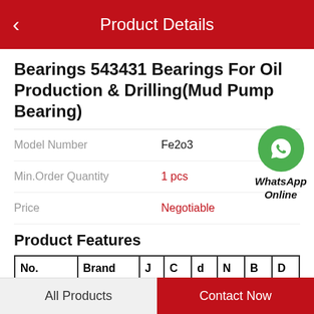Product Details
Bearings 543431 Bearings For Oil Production & Drilling(Mud Pump Bearing)
Model Number: Fe2o3
Min.Order Quantity: 1 pcs
Price: Negotiable
[Figure (logo): WhatsApp Online green phone icon badge]
Product Features
| No. | Brand | J | C | d | N | B | D |
| --- | --- | --- | --- | --- | --- | --- | --- |
| 6R140 | - | - | - | - | - | - | - |
All Products    Contact Now